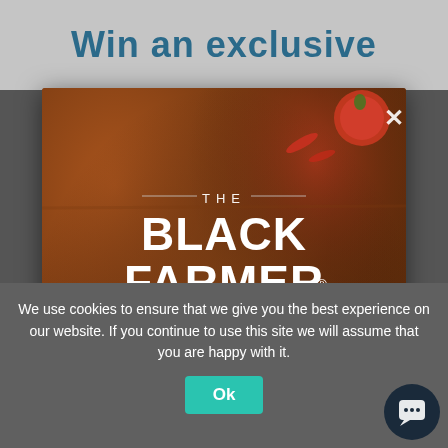Win an exclusive
[Figure (photo): The Black Farmer brand advertisement showing grilled lamb chops on a wooden board with tomatoes and herbs. Features brand logo 'THE BLACK FARMER' with text '25% OFF LAMB' and a red 'SHOP DEALS NOW' button.]
We use cookies to ensure that we give you the best experience on our website. If you continue to use this site we will assume that you are happy with it.